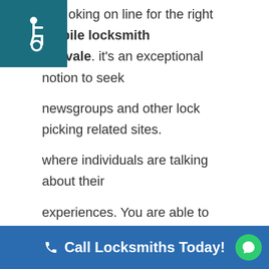[Figure (logo): Teal square background with white wheelchair accessibility icon]
oking on line for the right mobile locksmith Sunnyvale. it's an exceptional notion to seek newsgroups and other lock picking related sites. where individuals are talking about their experiences. You are able to use your preferred search engine to find where. other individuals are talking about locksmith services.
You may also type "Auto Locksmith Sunnyvale". into Facebook sites and see what folks are saying there. The biggest idea would be to feel confident about your purchase. by talking with others about their own expertise. both great and terrible You
Call Locksmiths Today!